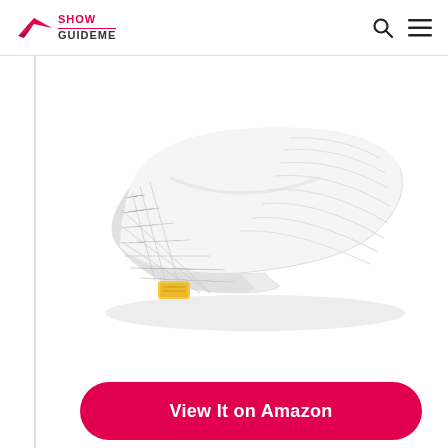Show GuideMe
[Figure (photo): White contoured memory foam pillow with textured fabric sides and a small yellow tag, photographed on a white background at a slight angle to show the ergonomic shape.]
View It on Amazon